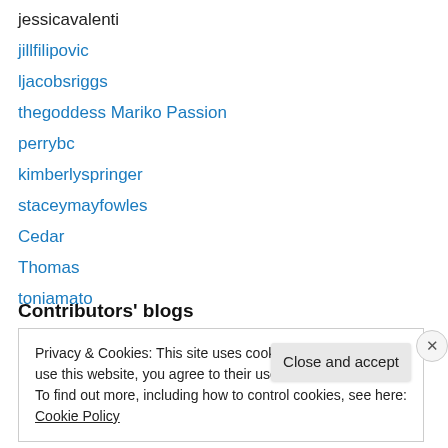jessicavalenti
jillfilipovic
ljacobsriggs
thegoddess Mariko Passion
perrybc
kimberlyspringer
staceymayfowles
Cedar
Thomas
toniamato
Contributors' blogs
Privacy & Cookies: This site uses cookies. By continuing to use this website, you agree to their use.
To find out more, including how to control cookies, see here: Cookie Policy
Close and accept